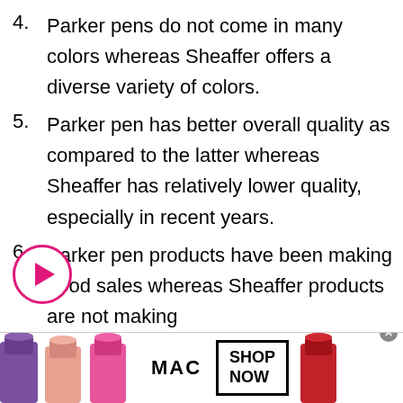4. Parker pens do not come in many colors whereas Sheaffer offers a diverse variety of colors.
5. Parker pen has better overall quality as compared to the latter whereas Sheaffer has relatively lower quality, especially in recent years.
6. Parker pen products have been making good sales whereas Sheaffer products are not making
[Figure (other): Advertisement banner for MAC cosmetics showing lipsticks in purple, pink, and red colors with MAC logo and a SHOP NOW button]